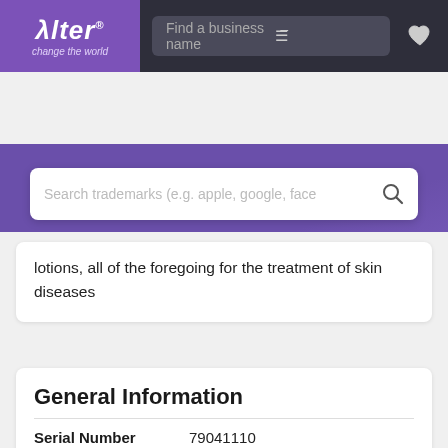[Figure (screenshot): Alter trademark search website navigation bar with purple logo, search bar 'Find a business name', filter icon, and heart icon]
[Figure (screenshot): Purple hero section with trademark search box placeholder 'Search trademarks (e.g. apple, google, face']
lotions, all of the foregoing for the treatment of skin diseases
General Information
| Field | Value |
| --- | --- |
| Serial Number | 79041110 |
| Word Mark | PHARMACERIS |
| Filing Date | Friday, May 18, 2007 |